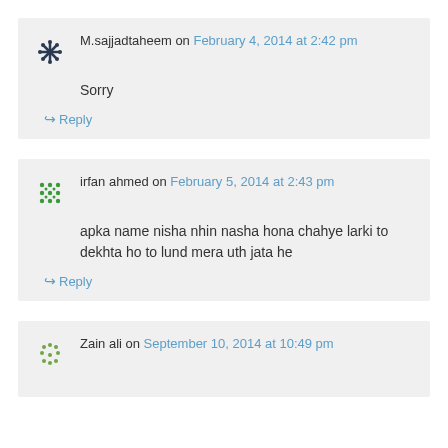M.sajjadtaheem on February 4, 2014 at 2:42 pm
Sorry
↪ Reply
irfan ahmed on February 5, 2014 at 2:43 pm
apka name nisha nhin nasha hona chahye larki to dekhta ho to lund mera uth jata he
↪ Reply
Zain ali on September 10, 2014 at 10:49 pm